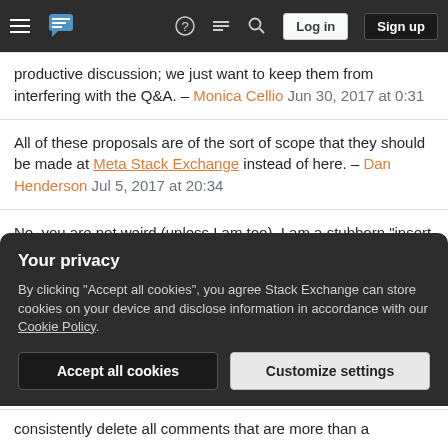Stack Exchange navigation bar with hamburger menu, logo, help, chat, search icons, Log in and Sign up buttons
productive discussion; we just want to keep them from interfering with the Q&A. – Monica Cellio Jun 30, 2017 at 0:31
All of these proposals are of the sort of scope that they should be made at Meta Stack Exchange instead of here. – Dan Henderson Jul 5, 2017 at 20:34
No, you are not weird (unless I am too). I am a stubborn "insert comment reply" editor, then flag as obsolete, so I particularly experience the "you can only flag every 5 seconds" pain. It is a waste of the time I use contributing. If that was reduced to 3 seconds that would already be great. Your 'multi comment flagging'
Your privacy
By clicking "Accept all cookies", you agree Stack Exchange can store cookies on your device and disclose information in accordance with our Cookie Policy.
Accept all cookies   Customize settings
consistently delete all comments that are more than a